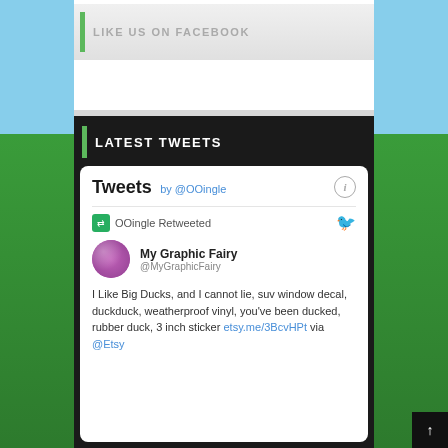LIKE US ON FACEBOOK
LATEST TWEETS
Tweets by @OOingle
OOingle Retweeted
My Graphic Fairy @MyGraphicFairy
I Like Big Ducks, and I cannot lie, suv window decal, duckduck, weatherproof vinyl, you've been ducked, rubber duck, 3 inch sticker etsy.me/3BcvHPt via @Etsy